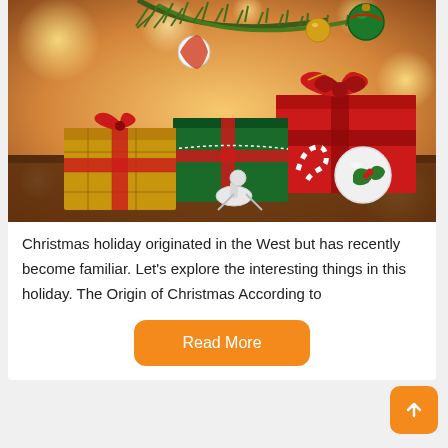[Figure (photo): Christmas gifts and decorations: red and green gift boxes with ribbons and bows, Christmas ornament balls, candy cane, pine branches, and bokeh lights in warm golden background on a wooden surface.]
Christmas holiday originated in the West but has recently become familiar. Let's explore the interesting things in this holiday. The Origin of Christmas According to
Read More